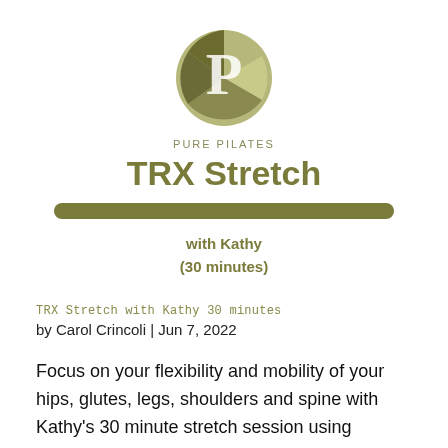[Figure (logo): Pure Pilates circular logo with a stylized P shape in olive/khaki green tones]
PURE PILATES
TRX Stretch
with Kathy
(30 minutes)
TRX Stretch with Kathy 30 minutes
by Carol Crincoli | Jun 7, 2022
Focus on your flexibility and mobility of your hips, glutes, legs, shoulders and spine with Kathy's 30 minute stretch session using suspension straps. Grab a mat because the